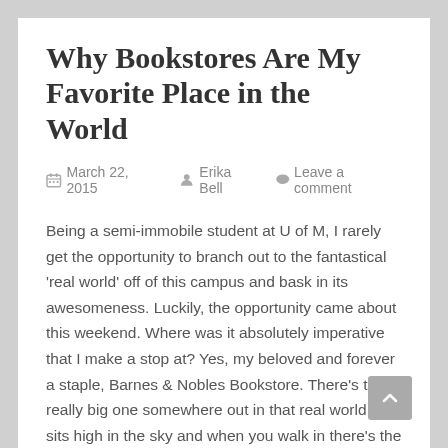Why Bookstores Are My Favorite Place in the World
March 22, 2015   Erika Bell   Leave a comment
Being a semi-immobile student at U of M, I rarely get the opportunity to branch out to the fantastical 'real world' off of this campus and bask in its awesomeness. Luckily, the opportunity came about this weekend. Where was it absolutely imperative that I make a stop at? Yes, my beloved and forever a staple, Barnes & Nobles Bookstore. There's this really big one somewhere out in that real world that sits high in the sky and when you walk in there's the hustle and bustle of readers, writers, coffee addicts, and